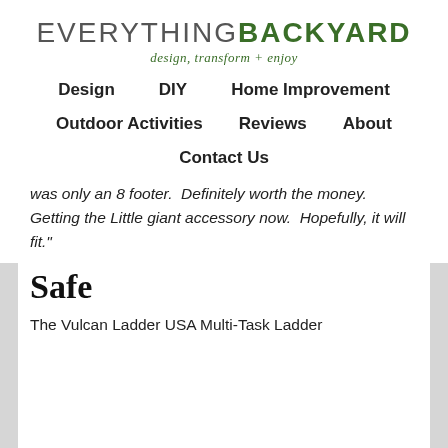EVERYTHING BACKYARD design, transform + enjoy
Design
DIY
Home Improvement
Outdoor Activities
Reviews
About
Contact Us
was only an 8 footer.  Definitely worth the money.  Getting the Little giant accessory now.  Hopefully, it will fit."
Safe
The Vulcan Ladder USA Multi-Task Ladder